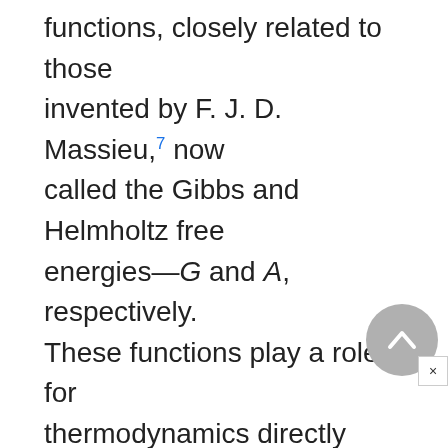functions, closely related to those invented by F. J. D. Massieu,7 now called the Gibbs and Helmholtz free energies—G and A, respectively. These functions play a role for thermodynamics directly analogous to the one played by the potential of classical mechanics. Duhem was one of the first to see real promise in this, calling Massieu's functions "thermodynamic potentials." Using this idea together with the principle of virtual work, he treated a number of topics in chemistry and engineering.